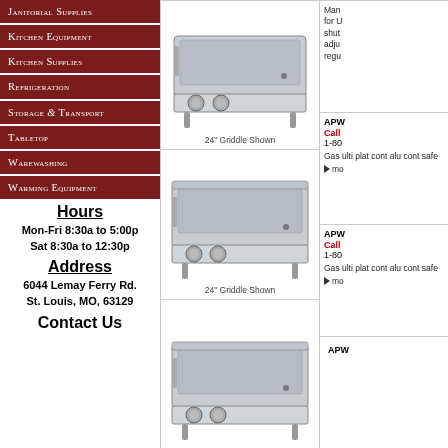Janitorial Supplies
Kitchen Equipment
Kitchen Supplies
Refrigeration
Storage & Transport
Tabletop
Warewashing
Warming Equipment
Hours
Mon-Fri 8:30a to 5:00p
Sat 8:30a to 12:30p
Address
6044 Lemay Ferry Rd.
St. Louis, MO, 63129
Contact Us
[Figure (photo): Commercial gas griddle, 24 inch model shown, stainless steel]
24" Griddle Shown
[Figure (photo): APW commercial gas griddle, 24 inch model shown]
24" Griddle Shown
[Figure (photo): APW commercial gas griddle, third model shown]
Man for U shut adju regu
APW
Call
1-80
Gas ulti plat cont alu cont safe
► mo
APW
Call
1-80
Gas ulti plat cont alu cont safe
► mo
APW